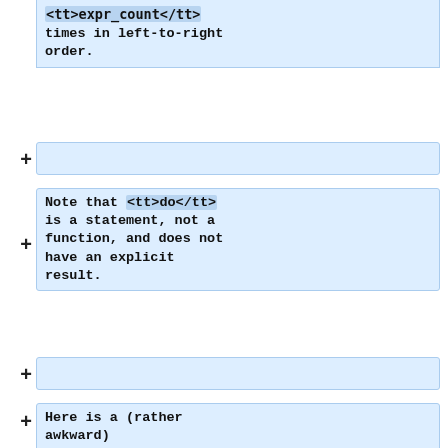<tt>expr_count</tt> times in left-to-right order.
(collapsed node)
Note that <tt>do</tt> is a statement, not a function, and does not have an explicit result.
(collapsed node)
Here is a (rather awkward) implementation of a factorial using <tt>do</tt>:
<pre>
fact2:
{do[.1+f;r;x;r*:f::1];r